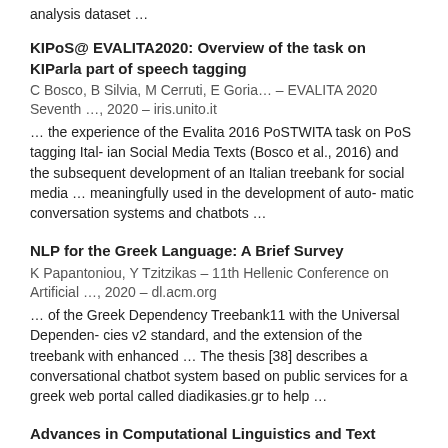analysis dataset …
KIPoS@ EVALITA2020: Overview of the task on KIParla part of speech tagging
C Bosco, B Silvia, M Cerruti, E Goria… – EVALITA 2020 Seventh …, 2020 – iris.unito.it
… the experience of the Evalita 2016 PoSTWITA task on PoS tagging Ital- ian Social Media Texts (Bosco et al., 2016) and the subsequent development of an Italian treebank for social media … meaningfully used in the development of auto- matic conversation systems and chatbots …
NLP for the Greek Language: A Brief Survey
K Papantoniou, Y Tzitzikas – 11th Hellenic Conference on Artificial …, 2020 – dl.acm.org
… of the Greek Dependency Treebank11 with the Universal Dependen- cies v2 standard, and the extension of the treebank with enhanced … The thesis [38] describes a conversational chatbot system based on public services for a greek web portal called diadikasies.gr to help …
Advances in Computational Linguistics and Text Processing Frameworks
A Srivastav, H Khan, AK Mishra – Handbook of Research